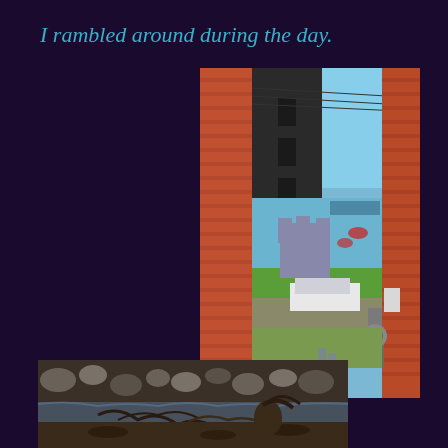I rambled around during the day.
[Figure (photo): Alley between two brick buildings with a colorful castle mural visible in the background, parked vehicles, and gas pipes/meters on the right building wall]
[Figure (photo): Outdoor scene showing rocks, water, and tree roots or branches at ground level]